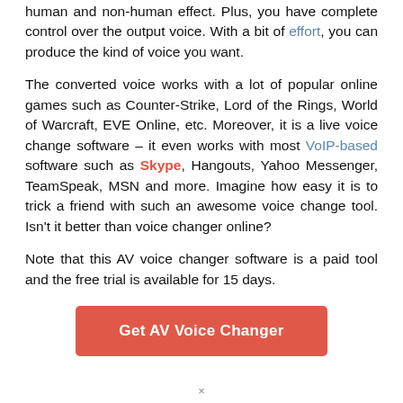human and non-human effect. Plus, you have complete control over the output voice. With a bit of effort, you can produce the kind of voice you want.
The converted voice works with a lot of popular online games such as Counter-Strike, Lord of the Rings, World of Warcraft, EVE Online, etc. Moreover, it is a live voice change software – it even works with most VoIP-based software such as Skype, Hangouts, Yahoo Messenger, TeamSpeak, MSN and more. Imagine how easy it is to trick a friend with such an awesome voice change tool. Isn't it better than voice changer online?
Note that this AV voice changer software is a paid tool and the free trial is available for 15 days.
[Figure (other): Red button labeled 'Get AV Voice Changer']
×